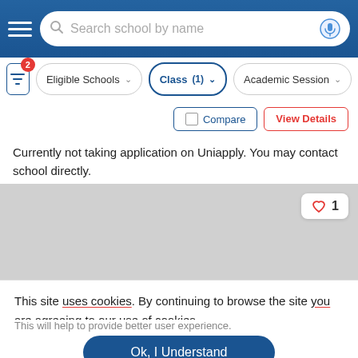[Figure (screenshot): Top navigation bar with hamburger menu, search field 'Search school by name', and microphone icon on blue background]
[Figure (screenshot): Filter bar with funnel icon badge 2, Eligible Schools dropdown, Class (1) dropdown (active), Academic Session dropdown]
[Figure (screenshot): Action buttons row: Compare (with checkbox) and View Details in red]
Currently not taking application on Uniapply. You may contact school directly.
[Figure (screenshot): Gray placeholder card image with heart badge showing count 1]
This site uses cookies. By continuing to browse the site you are agreeing to our use of cookies.
This will help to provide better user experience.
Ok, I Understand